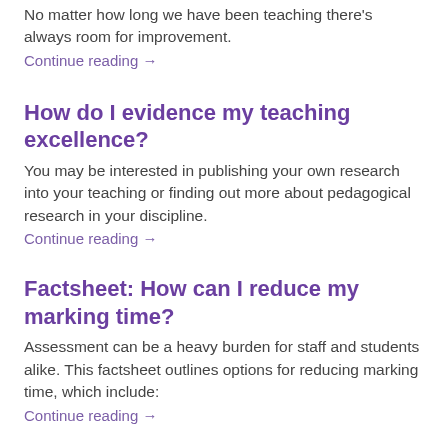No matter how long we have been teaching there's always room for improvement.
Continue reading →
How do I evidence my teaching excellence?
You may be interested in publishing your own research into your teaching or finding out more about pedagogical research in your discipline.
Continue reading →
Factsheet: How can I reduce my marking time?
Assessment can be a heavy burden for staff and students alike. This factsheet outlines options for reducing marking time, which include:
Continue reading →